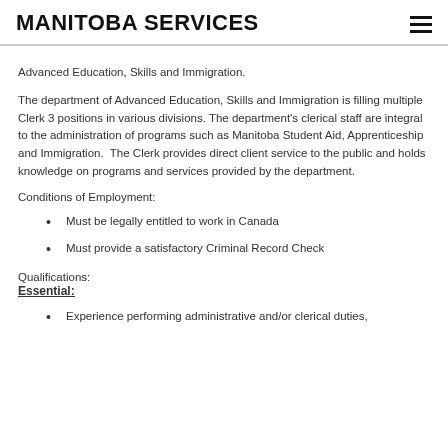MANITOBA SERVICES
Advanced Education, Skills and Immigration.
The department of Advanced Education, Skills and Immigration is filling multiple Clerk 3 positions in various divisions. The department's clerical staff are integral to the administration of programs such as Manitoba Student Aid, Apprenticeship and Immigration.  The Clerk provides direct client service to the public and holds knowledge on programs and services provided by the department.
Conditions of Employment:
Must be legally entitled to work in Canada
Must provide a satisfactory Criminal Record Check
Qualifications:
Essential:
Experience performing administrative and/or clerical duties,